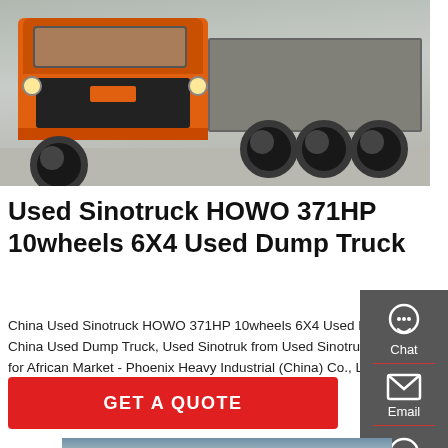[Figure (photo): Orange Sinotruck HOWO dump truck / tipper truck photographed from the front on a concrete surface]
Used Sinotruck HOWO 371HP 10wheels 6X4 Used Dump Truck
China Used Sinotruck HOWO 371HP 10wheels 6X4 Used Dump Truck Tipper Truck with Good Price for African Market, Find details about China Used Dump Truck, Used Sinotruk from Used Sinotruck HOWO 371HP 10wheels 6X4 Used Dump Truck Tipper Truck with Good Price for African Market - Phoenix Heavy Industrial (China) Co., Ltd.
[Figure (screenshot): Sidebar with Chat, Email, and Contact icons on dark grey background]
GET A QUOTE
[Figure (photo): Partial view of a building at the bottom of the page]